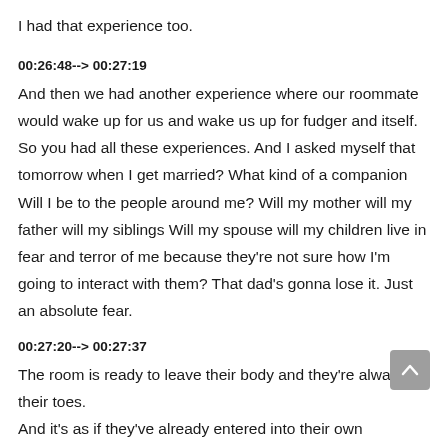I had that experience too.
00:26:48--> 00:27:19
And then we had another experience where our roommate would wake up for us and wake us up for fudger and itself. So you had all these experiences. And I asked myself that tomorrow when I get married? What kind of a companion Will I be to the people around me? Will my mother will my father will my siblings Will my spouse will my children live in fear and terror of me because they're not sure how I'm going to interact with them? That dad's gonna lose it. Just an absolute fear.
00:27:20--> 00:27:37
The room is ready to leave their body and they're always on their toes.
And it's as if they've already entered into their own jahannam